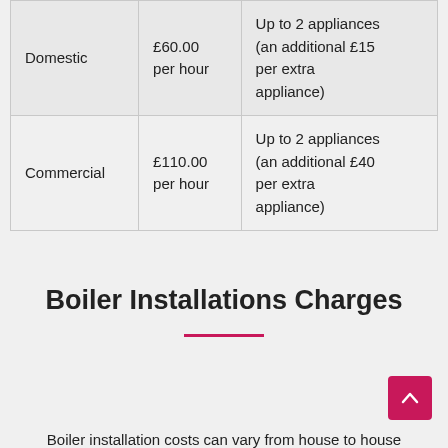|  | Rate | Appliances |
| --- | --- | --- |
| Domestic | £60.00 per hour | Up to 2 appliances (an additional £15 per extra appliance) |
| Commercial | £110.00 per hour | Up to 2 appliances (an additional £40 per extra appliance) |
Boiler Installations Charges
Boiler installation costs can vary from house to house